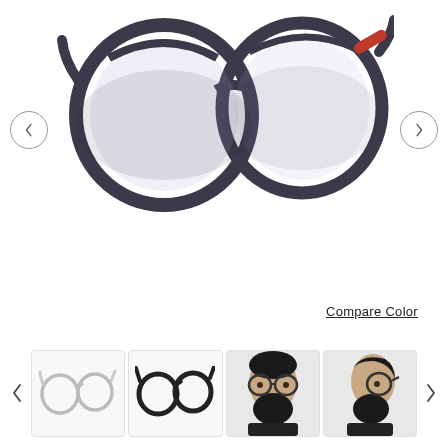[Figure (photo): Main product image: round-frame eyeglasses with dark navy/grey frame and red accent on temples, displayed on white background. Left and right navigation arrows in circular borders on each side.]
Compare Color
[Figure (photo): Thumbnail row: left arrow, thumbnail 1 (light pink/clear round glasses side view), thumbnail 2 (dark round glasses front view), thumbnail 3 (bearded man wearing round glasses, front), thumbnail 4 (bearded man wearing round glasses, side), right arrow.]